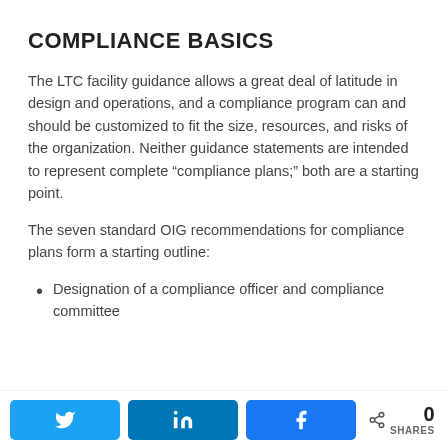COMPLIANCE BASICS
The LTC facility guidance allows a great deal of latitude in design and operations, and a compliance program can and should be customized to fit the size, resources, and risks of the organization. Neither guidance statements are intended to represent complete “compliance plans;” both are a starting point.
The seven standard OIG recommendations for compliance plans form a starting outline:
Designation of a compliance officer and compliance committee
Twitter share | LinkedIn share | Facebook share | 0 SHARES